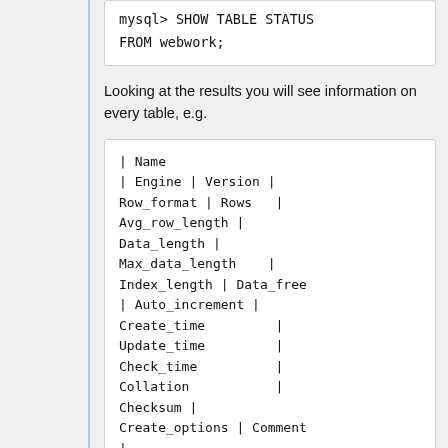mysql> SHOW TABLE STATUS FROM webwork;
Looking at the results you will see information on every table, e.g.
| Name
| Engine | Version |
Row_format | Rows |
Avg_row_length |
Data_length |
Max_data_length |
Index_length | Data_free
| Auto_increment |
Create_time |
Update_time |
Check_time |
Collation |
Checksum |
Create_options | Comment
|